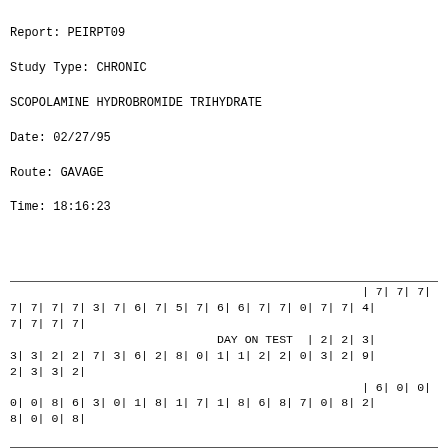Report: PEIRPT09
Study Type: CHRONIC
SCOPOLAMINE HYDROBROMIDE TRIHYDRATE
Date: 02/27/95
Route: GAVAGE
Time: 18:16:23
| 7| 7| 7|
7| 7| 7| 7| 3| 7| 6| 7| 5| 7| 6| 6| 7| 7| 0| 7| 7| 4|
7| 7| 7| 7|
DAY ON TEST  | 2| 2| 3|
3| 3| 2| 2| 7| 3| 6| 2| 8| 0| 1| 1| 2| 2| 0| 3| 2| 9|
2| 3| 3| 2|
| 6| 0| 0|
0| 0| 8| 6| 3| 0| 1| 8| 1| 7| 1| 8| 6| 8| 7| 0| 8| 2|
8| 0| 0| 8|
| 0| 0| 0|
0| 0| 0| 0| 0| 0| 0| 0| 0| 0| 0| 0| 0| 0| 0| 0| 0| 0|
0| 0| 0| 0|
B6C3F1 MICE FEMALE  | 0| 0| 0|